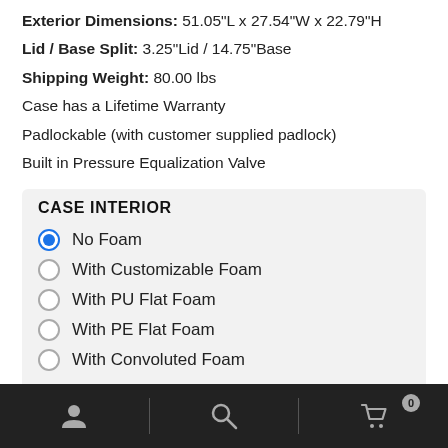Exterior Dimensions: 51.05"L x 27.54"W x 22.79"H
Lid / Base Split: 3.25"Lid / 14.75"Base
Shipping Weight: 80.00 lbs
Case has a Lifetime Warranty
Padlockable (with customer supplied padlock)
Built in Pressure Equalization Valve
CASE INTERIOR
No Foam (selected)
With Customizable Foam
With PU Flat Foam
With PE Flat Foam
With Convoluted Foam
User icon | Search icon | Cart icon (0)